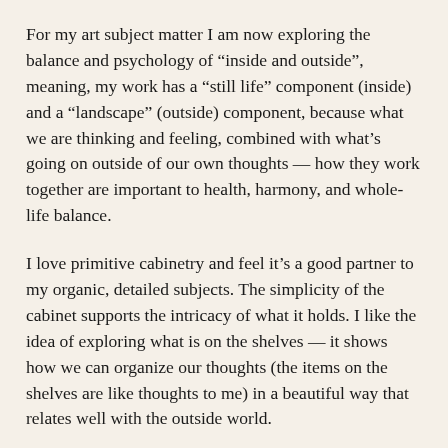For my art subject matter I am now exploring the balance and psychology of “inside and outside”, meaning, my work has a “still life” component (inside) and a “landscape” (outside) component, because what we are thinking and feeling, combined with what’s going on outside of our own thoughts — how they work together are important to health, harmony, and whole-life balance.
I love primitive cabinetry and feel it’s a good partner to my organic, detailed subjects. The simplicity of the cabinet supports the intricacy of what it holds. I like the idea of exploring what is on the shelves — it shows how we can organize our thoughts (the items on the shelves are like thoughts to me) in a beautiful way that relates well with the outside world.
Your thoughts and narrative “frame” how you see the